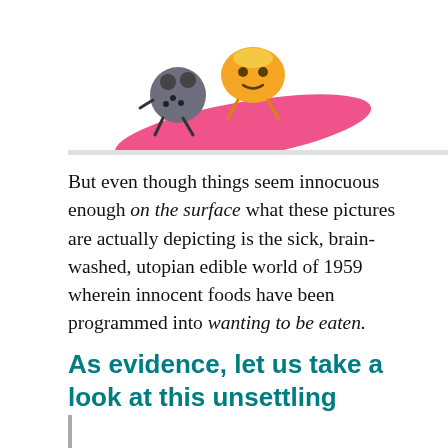[Figure (illustration): Colorful cartoon illustration of animated food characters (fruit/berry figures with faces) sitting together, with a pink curved shape beneath them, against a white background. A blue vertical bar is visible on the right edge.]
But even though things seem innocuous enough on the surface what these pictures are actually depicting is the sick, brain-washed, utopian edible world of 1959 wherein innocent foods have been programmed into wanting to be eaten.
As evidence, let us take a look at this unsettling illustration:
[Figure (illustration): Bottom of page showing the top edge of another illustration with a white background, partially visible.]